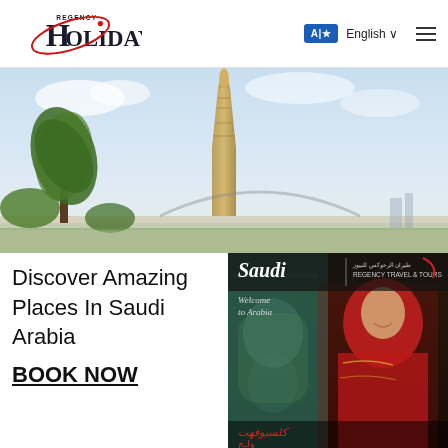[Figure (logo): Regency Holidays logo with red swoosh/orbit design]
A|★  English ∨
[Figure (photo): Aspire Tower (Torch Tower) in Doha Qatar with palm trees and blue sky]
Discover Amazing Places In Saudi Arabia
BOOK NOW
[Figure (photo): Saudi Arabia tourism advertisement - 'Saudi Welcome to Arabia' - Regency Travel & Tours, showing a smiling girl in red traditional dress]